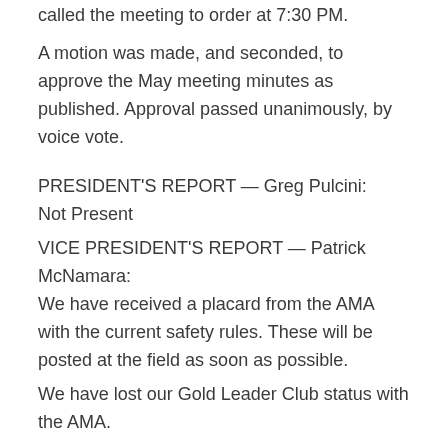called the meeting to order at 7:30 PM.
A motion was made, and seconded, to approve the May meeting minutes as published. Approval passed unanimously, by voice vote.
PRESIDENT'S REPORT — Greg Pulcini:
Not Present
VICE PRESIDENT'S REPORT — Patrick McNamara:
We have received a placard from the AMA with the current safety rules. These will be posted at the field as soon as possible.
We have lost our Gold Leader Club status with the AMA.
We were not able to schedule the Boy Scouts training events community service events required to maintain this status was the primary reason.
The Warbirds Over Texas event was successful.
SECRETARY'S REPORT — Billy Slater:
Dale O'daniel has donated a 10×10 canopy to the club. It